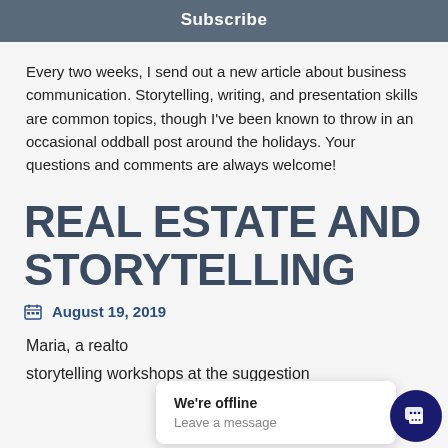Subscribe
Every two weeks, I send out a new article about business communication. Storytelling, writing, and presentation skills are common topics, though I've been known to throw in an occasional oddball post around the holidays. Your questions and comments are always welcome!
REAL ESTATE AND STORYTELLING
August 19, 2019
Maria, a realto…
storytelling workshops at the suggestion